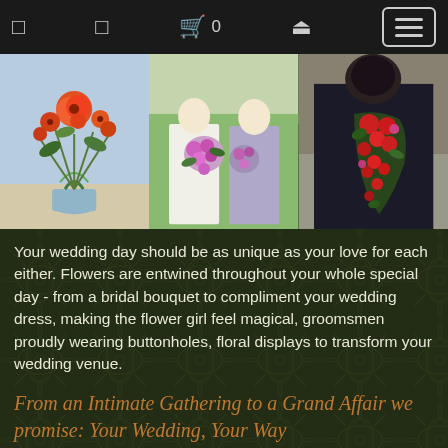Navigation bar with icons and menu button
[Figure (photo): Three wedding flower photos side by side: left shows a floral arrangement with orange/red blooms in a vase, center shows a bride and bridesmaid holding a large mixed bouquet, right shows a person holding a cascading bouquet with red flowers against a dark outfit.]
Your wedding day should be as unique as your love for each either. Flowers are entwined throughout your whole special day - from a bridal bouquet to compliment your wedding dress, making the flower girl feel magical, groomsmen proudly wearing buttonholes, floral displays to transform your wedding venue.
From an Intimate Gathering to a Grand Affair we promise: Your Wedding, Your Way
Vivienne, our Creative Director, has over 25 years' experience working with happy couples in Shropshire, London and throughout the UK. Working closely with you